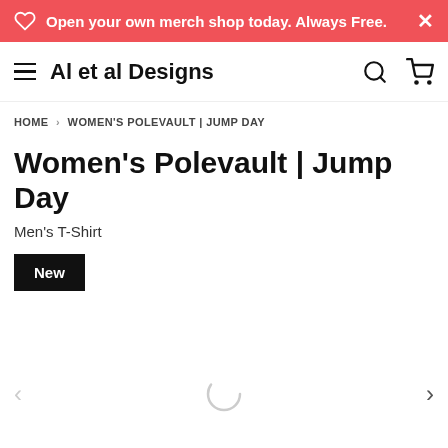Open your own merch shop today. Always Free.
Al et al Designs
HOME > WOMEN'S POLEVAULT | JUMP DAY
Women's Polevault | Jump Day
Men's T-Shirt
New
[Figure (other): Loading spinner / carousel image area with left and right arrows]